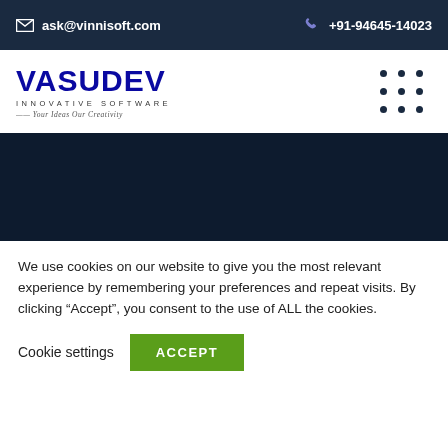ask@vinnisoft.com  +91-94645-14023
[Figure (logo): Vasudev Innovative Software logo with tagline 'Your Ideas Our Creativity']
[Figure (other): Dark navy blue banner/hero section]
We use cookies on our website to give you the most relevant experience by remembering your preferences and repeat visits. By clicking "Accept", you consent to the use of ALL the cookies.
Cookie settings  ACCEPT